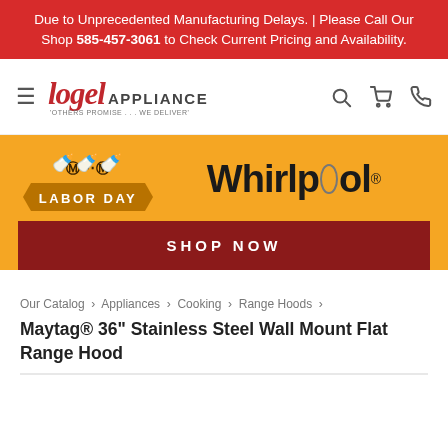Due to Unprecedented Manufacturing Delays. | Please Call Our Shop 585-457-3061 to Check Current Pricing and Availability.
[Figure (logo): Logel Appliance logo with tagline 'Others Promise ... We Deliver']
[Figure (infographic): Labor Day sale banner with Whirlpool brand logo on orange background with SHOP NOW button]
Our Catalog › Appliances › Cooking › Range Hoods ›
Maytag® 36" Stainless Steel Wall Mount Flat Range Hood